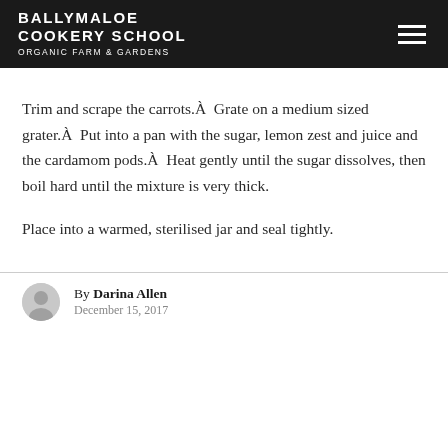BALLYMALOE COOKERY SCHOOL ORGANIC FARM & GARDENS
Trim and scrape the carrots.Â  Grate on a medium sized grater.Â  Put into a pan with the sugar, lemon zest and juice and the cardamom pods.Â  Heat gently until the sugar dissolves, then boil hard until the mixture is very thick.
Place into a warmed, sterilised jar and seal tightly.
By Darina Allen
December 15, 2017